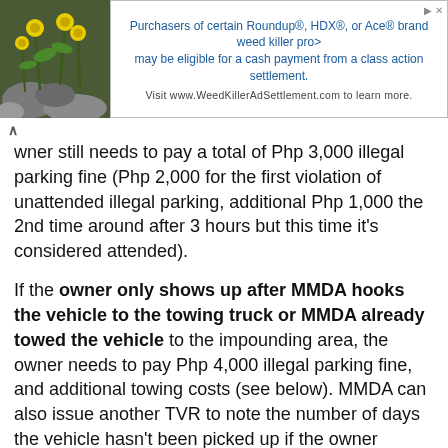[Figure (other): Advertisement banner: plant/flower image on left, text about Roundup/HDX/Ace weed killer class action settlement on right]
owner still needs to pay a total of Php 3,000 illegal parking fine (Php 2,000 for the first violation of unattended illegal parking, additional Php 1,000 the 2nd time around after 3 hours but this time it's considered attended).
If the owner only shows up after MMDA hooks the vehicle to the towing truck or MMDA already towed the vehicle to the impounding area, the owner needs to pay Php 4,000 illegal parking fine, and additional towing costs (see below). MMDA can also issue another TVR to note the number of days the vehicle hasn't been picked up if the owner doesn't show up in the impounding area immediately.
* For another guide regarding other traffic violation fines, you may refer to this document